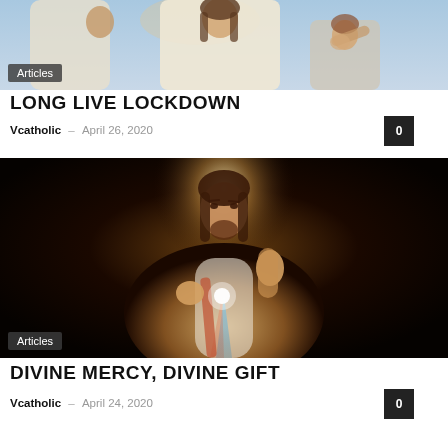[Figure (photo): Painting of Jesus with children, partial view showing upper portion]
LONG LIVE LOCKDOWN
Vcatholic – April 26, 2020
[Figure (photo): Divine Mercy image of Jesus Christ with rays of light, dark background]
DIVINE MERCY, DIVINE GIFT
Vcatholic – April 24, 2020